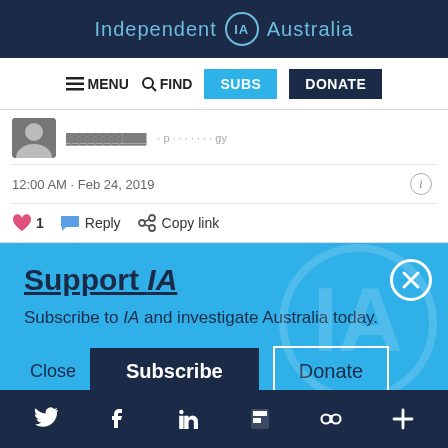Independent IA Australia
≡ MENU  🔍 FIND  SUBS  DONATE
[Figure (screenshot): Partial tweet screenshot with avatar, timestamp 12:00 AM · Feb 24, 2019, info icon, heart icon with count 1, Reply and Copy link actions]
12:00 AM · Feb 24, 2019
1  Reply  Copy link
Support IA
Subscribe to IA and investigate Australia today.
Close  Subscribe  Donate
Twitter  Facebook  LinkedIn  Flipboard  Links  Plus